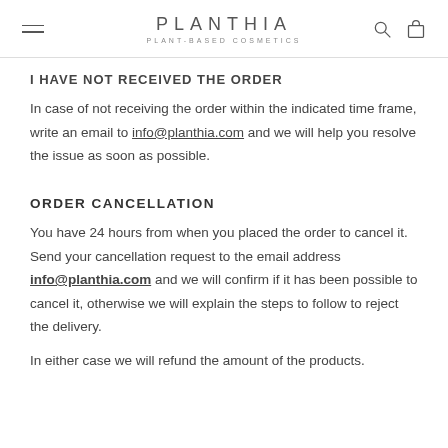PLANTHIA
PLANT-BASED COSMETICS
I HAVE NOT RECEIVED THE ORDER
In case of not receiving the order within the indicated time frame, write an email to info@planthia.com and we will help you resolve the issue as soon as possible.
ORDER CANCELLATION
You have 24 hours from when you placed the order to cancel it. Send your cancellation request to the email address info@planthia.com and we will confirm if it has been possible to cancel it, otherwise we will explain the steps to follow to reject the delivery.
In either case we will refund the amount of the products.